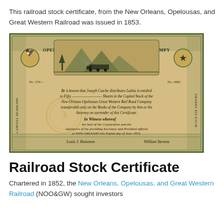This railroad stock certificate, from the New Orleans, Opelousas, and Great Western Railroad was issued in 1853.
[Figure (photo): A historical railroad stock certificate from the New Orleans, Opelousas & Great Western Rail Road Company, issued in 1853. The certificate is printed on aged yellowish paper with ornate borders, decorative engravings of an eagle, a star, a train scene, and cursive handwritten text. Text on the certificate reads 'NEW-ORLEANS, OPELOUSAS & GREAT WESTERN RAIL ROAD COMPY' along the top, with 'CAPITAL $8,000,000' on the left side and 'SHARES $25 EACH' on the right side.]
Railroad Stock Certificate
Chartered in 1852, the New Orleans, Opelousas, and Great Western Railroad (NOO&GW) sought investors